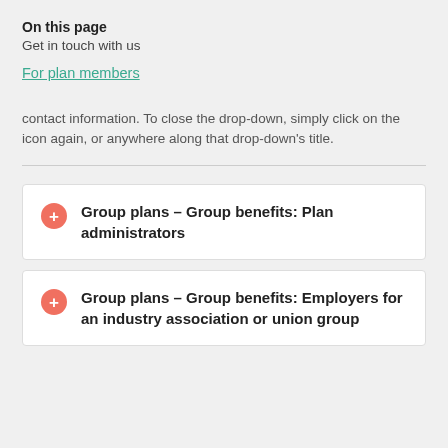On this page
Get in touch with us
For plan members
contact information. To close the drop-down, simply click on the icon again, or anywhere along that drop-down's title.
Group plans – Group benefits: Plan administrators
Group plans – Group benefits: Employers for an industry association or union group